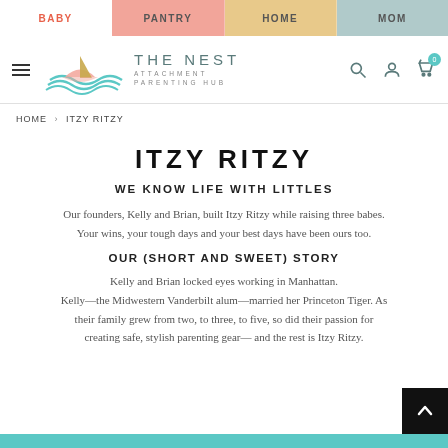BABY | PANTRY | HOME | MOM
[Figure (logo): The Nest Attachment Parenting Hub logo with teal wave/boat illustration]
HOME > ITZY RITZY
ITZY RITZY
WE KNOW LIFE WITH LITTLES
Our founders, Kelly and Brian, built Itzy Ritzy while raising three babes. Your wins, your tough days and your best days have been ours too.
OUR (SHORT AND SWEET) STORY
Kelly and Brian locked eyes working in Manhattan. Kelly—the Midwestern Vanderbilt alum—married her Princeton Tiger. As their family grew from two, to three, to five, so did their passion for creating safe, stylish parenting gear— and the rest is Itzy Ritzy.